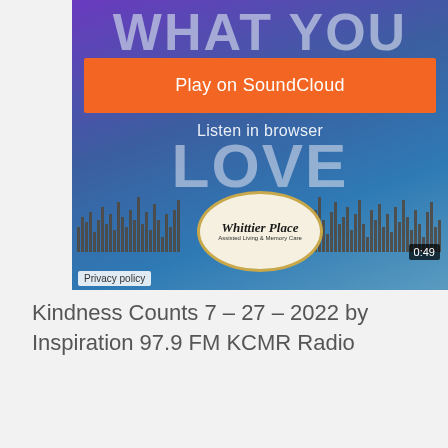[Figure (screenshot): SoundCloud embedded player showing a song with 'WHAT YOU LOVE' text on a purple/blue gradient background, orange 'Play on SoundCloud' button, 'Listen in browser' text, audio waveform, circular logo for assisted living facility, timestamp 0:49, and privacy policy label.]
Kindness Counts 7 – 27 – 2022 by Inspiration 97.9 FM KCMR Radio